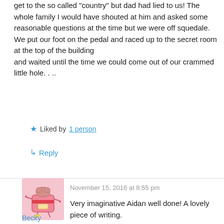get to the so called "country" but dad had lied to us! The whole family I would have shouted at him and asked some reasonable questions at the time but we were off squedale. We put our foot on the pedal and raced up to the secret room at the top of the building
and waited until the time we could come out of our crammed little hole. . ..
★ Liked by 1 person
↳ Reply
November 15, 2016 at 8:55 pm
[Figure (illustration): Cartoon avatar of a pink weighing scale with a brain on top, stick arms and legs, and a small bird/leaf near its feet, on a pink background]
Very imaginative Aidan well done! A lovely piece of writing.
Becky